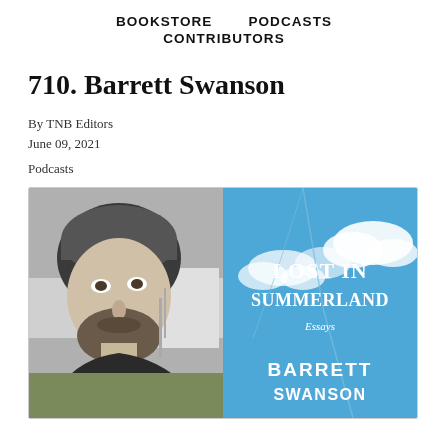BOOKSTORE   PODCASTS   CONTRIBUTORS
710. Barrett Swanson
By TNB Editors
June 09, 2021
Podcasts
[Figure (photo): Left half: black and white portrait photo of a bearded man wearing a knit cap, looking to his right. Right half: book cover for 'Lost in Summerland: Essays' by Barrett Swanson, with a blue sky and clouds background.]